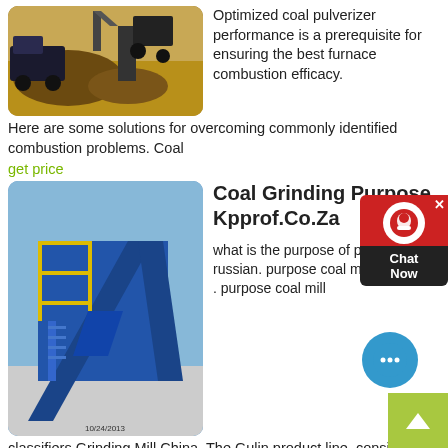[Figure (photo): Industrial coal processing equipment with mounds of coal on a dusty outdoor site.]
Optimized coal pulverizer performance is a prerequisite for ensuring the best furnace combustion efficacy. Here are some solutions for overcoming commonly identified combustion problems. Coal
get price
[Figure (photo): Blue industrial coal grinding/conveyor machinery at an outdoor facility, dated 10/24/2013.]
Coal Grinding Purpose Kpprof.Co.Za
what is the purpose of pulverizers russian. purpose coal mill classifiers . purpose coal mill classifiers Grinding Mill China. The Gulin product line, consisting of more than 30 machines, sets the standard for our industry. Get Price.